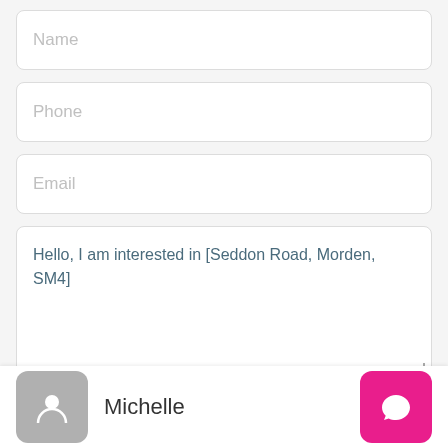Name (placeholder)
Phone (placeholder)
Email (placeholder)
Hello, I am interested in [Seddon Road, Morden, SM4]
By submitting this form I agree to Terms of Use
Michelle